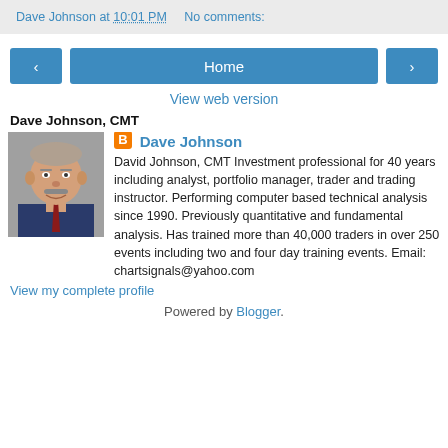Dave Johnson at 10:01 PM   No comments:
< [navigation button]
Home [navigation button]
> [navigation button]
View web version
Dave Johnson, CMT
[Figure (photo): Portrait photo of Dave Johnson, a man with grey hair and a moustache wearing a suit and tie]
Dave Johnson
David Johnson, CMT Investment professional for 40 years including analyst, portfolio manager, trader and trading instructor. Performing computer based technical analysis since 1990. Previously quantitative and fundamental analysis. Has trained more than 40,000 traders in over 250 events including two and four day training events. Email: chartsignals@yahoo.com
View my complete profile
Powered by Blogger.